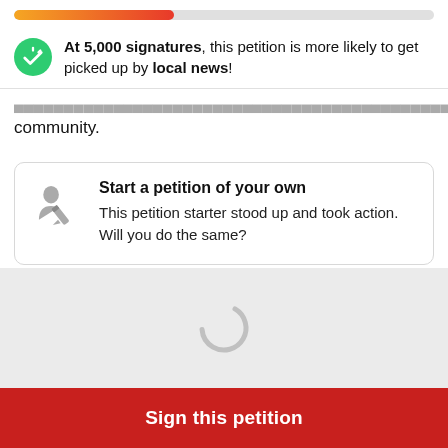[Figure (infographic): Progress bar with gradient fill from orange to red, approximately 38% filled]
At 5,000 signatures, this petition is more likely to get picked up by local news!
community.
Start a petition of your own
This petition starter stood up and took action. Will you do the same?
[Figure (infographic): Gray loading spinner icon centered in a light gray section]
Sign this petition